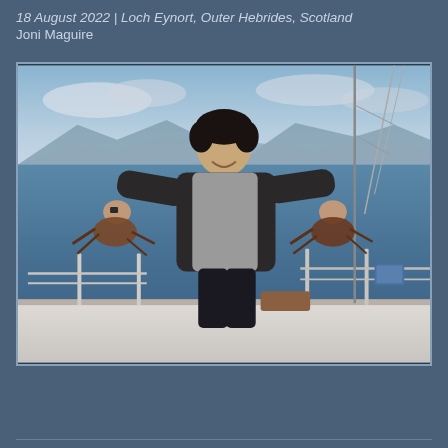18 August 2022 | Loch Eynort, Outer Hebrides, Scotland
Joni Maguire
[Figure (photo): A young person standing on a sailboat at Loch Eynort, Outer Hebrides, Scotland, smiling and holding a lobster in each hand. The background shows calm water, distant hills, and an overcast sky. The person is wearing a grey hoodie and dark trousers.]
Show Comments 1